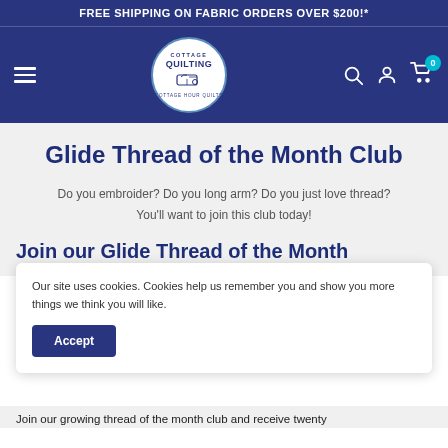FREE SHIPPING ON FABRIC ORDERS OVER $200!*
[Figure (logo): Cottage Quilting circular logo with sewing machine icon, dark blue and white colors, navigation bar with hamburger menu, search, account, and cart icons]
Glide Thread of the Month Club
Do you embroider?  Do you long arm?  Do you just love thread? You'll want to join this club today!
Join our Glide Thread of the Month
Our site uses cookies.  Cookies help us remember you and show you more things we think you will like.
Accept
Join our growing thread of the month club and receive twenty